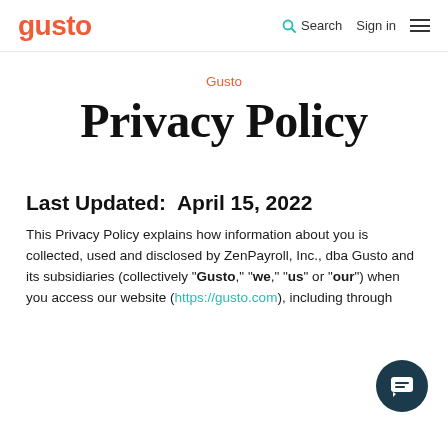gusto    Search    Sign in
Gusto
Privacy Policy
Last Updated:  April 15, 2022
This Privacy Policy explains how information about you is collected, used and disclosed by ZenPayroll, Inc., dba Gusto and its subsidiaries (collectively "Gusto," "we," "us" or "our") when you access our website (https://gusto.com), including through